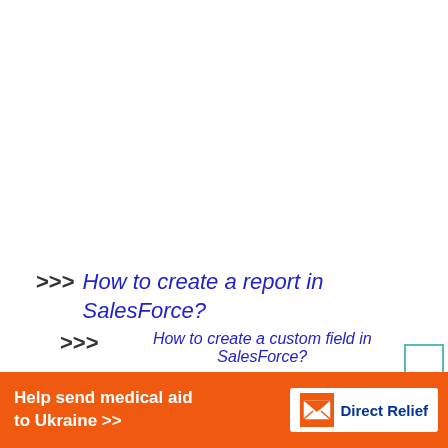>>> How to create a report in SalesForce?
>>> How to create a custom field in SalesForce?
♡ Quickly add a chart to report in
No compatible source was found for this
Help send medical aid to Ukraine >>
[Figure (logo): Direct Relief logo with white background, blue text and envelope icon]